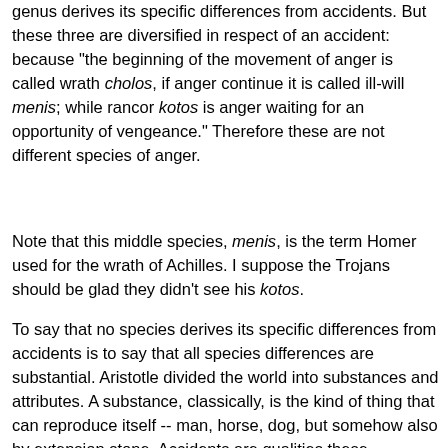genus derives its specific differences from accidents. But these three are diversified in respect of an accident: because "the beginning of the movement of anger is called wrath cholos, if anger continue it is called ill-will menis; while rancor kotos is anger waiting for an opportunity of vengeance." Therefore these are not different species of anger.
Note that this middle species, menis, is the term Homer used for the wrath of Achilles. I suppose the Trojans should be glad they didn't see his kotos.
To say that no species derives its specific differences from accidents is to say that all species differences are substantial. Aristotle divided the world into substances and attributes. A substance, classically, is the kind of thing that can reproduce itself -- man, horse, dog, but somehow also by extension stone, Accidents are qualities these substantial things have that they might not have had: a big stone, a grey stone, a buried stone. So what this objection is saying is that it's only accidental that an anger has 'just begun,' or 'has